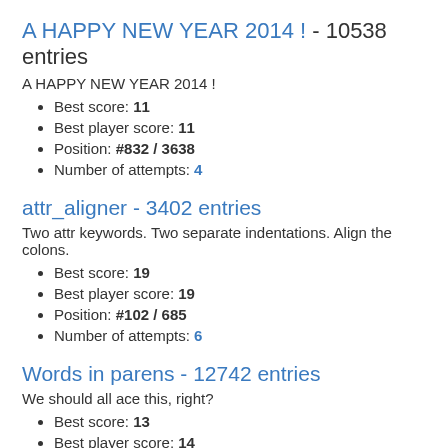A HAPPY NEW YEAR 2014 ! - 10538 entries
A HAPPY NEW YEAR 2014 !
Best score: 11
Best player score: 11
Position: #832 / 3638
Number of attempts: 4
attr_aligner - 3402 entries
Two attr keywords. Two separate indentations. Align the colons.
Best score: 19
Best player score: 19
Position: #102 / 685
Number of attempts: 6
Words in parens - 12742 entries
We should all ace this, right?
Best score: 13
Best player score: 14